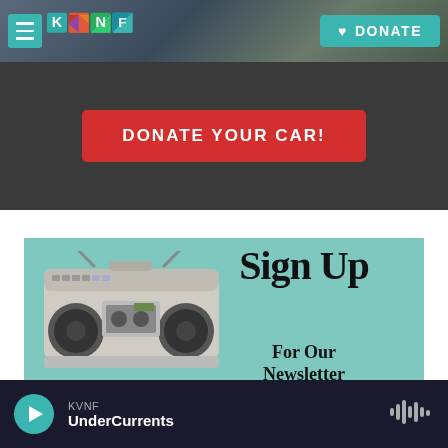[Figure (screenshot): KVNF radio station website header with colorful geometric logo and teal DONATE button on dark background]
[Figure (screenshot): Dark gray banner with red button reading DONATE YOUR CAR!]
[Figure (illustration): Teal/mint colored promotional banner with boombox image and text 'Sign Up For Our Newsletter']
KVNF UnderCurrents
DONATE YOUR CAR!
Sign Up For Our Newsletter
KVNF
UnderCurrents